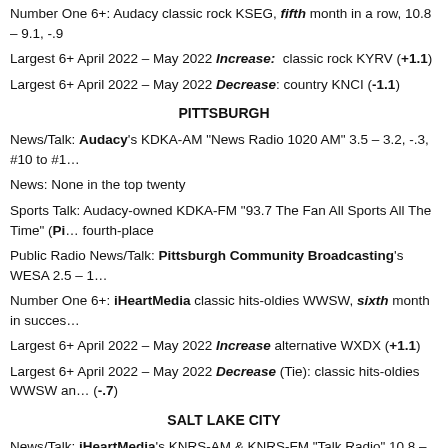Number One 6+: Audacy classic rock KSEG, fifth month in a row, 10.8 – 9.1, -.9...
Largest 6+ April 2022 – May 2022 Increase: classic rock KYRV (+1.1)
Largest 6+ April 2022 – May 2022 Decrease: country KNCI (-1.1)
PITTSBURGH
News/Talk: Audacy's KDKA-AM "News Radio 1020 AM" 3.5 – 3.2, -.3, #10 to #1...
News: None in the top twenty
Sports Talk: Audacy-owned KDKA-FM "93.7 The Fan All Sports All The Time" (Pi... fourth-place
Public Radio News/Talk: Pittsburgh Community Broadcasting's WESA 2.5 – 1...
Number One 6+: iHeartMedia classic hits-oldies WWSW, sixth month in succes...
Largest 6+ April 2022 – May 2022 Increase alternative WXDX (+1.1)
Largest 6+ April 2022 – May 2022 Decrease (Tie): classic hits-oldies WWSW an... (-.7)
SALT LAKE CITY
News/Talk: iHeartMedia's KNRS-AM & KNRS-FM "Talk Radio" 10.8 – 9.6, -1.2, #...